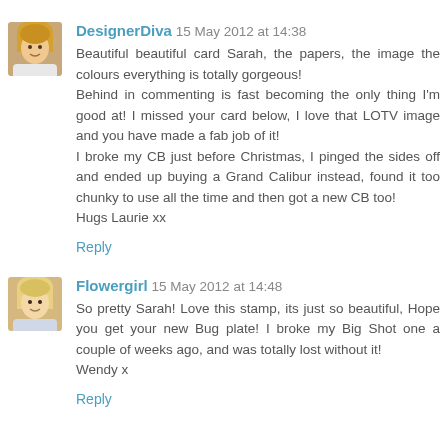[Figure (photo): Avatar photo of DesignerDiva — woman with blonde hair]
DesignerDiva  15 May 2012 at 14:38
Beautiful beautiful card Sarah, the papers, the image the colours everything is totally gorgeous!
Behind in commenting is fast becoming the only thing I'm good at! I missed your card below, I love that LOTV image and you have made a fab job of it!
I broke my CB just before Christmas, I pinged the sides off and ended up buying a Grand Calibur instead, found it too chunky to use all the time and then got a new CB too!
Hugs Laurie xx
Reply
[Figure (photo): Avatar photo of Flowergirl — woman with light hair]
Flowergirl  15 May 2012 at 14:48
So pretty Sarah! Love this stamp, its just so beautiful, Hope you get your new Bug plate! I broke my Big Shot one a couple of weeks ago, and was totally lost without it!
Wendy x
Reply